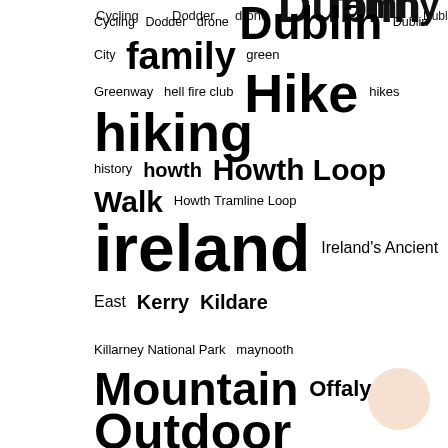[Figure (infographic): A tag/word cloud featuring Irish outdoor and nature-related terms in varying font sizes indicating frequency. Words include: Cycling, Dodder, drone, Dublin, Dublin City, family, green, Greenway, hell fire club, Hike, hikes, hiking, history, howth, Howth Loop Walk, Howth Tramline Loop, ireland, Ireland's Ancient East, Kerry, Kildare, Killarney National Park, maynooth, Mountain, Offaly, Outdoor, outdoors, Park, parks, playground, River, Slieve Bloom, summit, walk, walking, walks, Westport, Wild Atlantic Way]